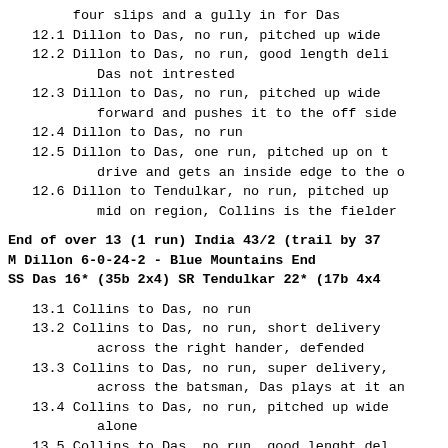four slips and a gully in for Das
   12.1 Dillon to Das, no run, pitched up wide
   12.2 Dillon to Das, no run, good length deli
           Das not intrested
   12.3 Dillon to Das, no run, pitched up wide
           forward and pushes it to the off side
   12.4 Dillon to Das, no run
   12.5 Dillon to Das, one run, pitched up on t
           drive and gets an inside edge to the o
   12.6 Dillon to Tendulkar, no run, pitched up
           mid on region, Collins is the fielder
End of over 13 (1 run) India 43/2 (trail by 37
M Dillon 6-0-24-2 - Blue Mountains End
SS Das 16* (35b 2x4) SR Tendulkar 22* (17b 4x4
13.1 Collins to Das, no run
13.2 Collins to Das, no run, short delivery
        across the right hander, defended
13.3 Collins to Das, no run, super delivery,
        across the batsman, Das plays at it an
13.4 Collins to Das, no run, pitched up wide
        alone
13.5 Collins to Das, no run, good lenght del
        across the right hander, no shot offer